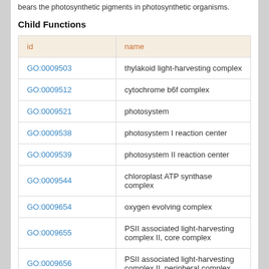bears the photosynthetic pigments in photosynthetic organisms.
Child Functions
| id | name |
| --- | --- |
| GO:0009503 | thylakoid light-harvesting complex |
| GO:0009512 | cytochrome b6f complex |
| GO:0009521 | photosystem |
| GO:0009538 | photosystem I reaction center |
| GO:0009539 | photosystem II reaction center |
| GO:0009544 | chloroplast ATP synthase complex |
| GO:0009654 | oxygen evolving complex |
| GO:0009655 | PSII associated light-harvesting complex II, core complex |
| GO:0009656 | PSII associated light-harvesting complex II, peripheral complex |
| GO:0009782 | photosystem I antenna complex |